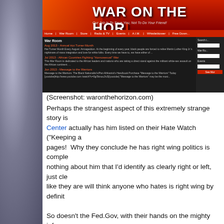[Figure (screenshot): Screenshot of waronthehorizon.com website showing War Room section with dark background, red header with site name 'WAR ON THE HORI...' and tagline 'Our Job Is To Save You, Not To Do Your Friend', with navigation bar and article listings]
(Screenshot: waronthehorizon.com)
Perhaps the strangest aspect of this extremely strange story is Center actually has him listed on their Hate Watch ("Keeping a pages!  Why they conclude he has right wing politics is comple nothing about him that I'd identify as clearly right or left, just cle like they are will think anyone who hates is right wing by definit
So doesn't the Fed.Gov, with their hands on the mighty info-su employee is running a hate-speech filled web page?  Apparent us.
Kimathi's former supervisor told the Southern Poverty La website in June.